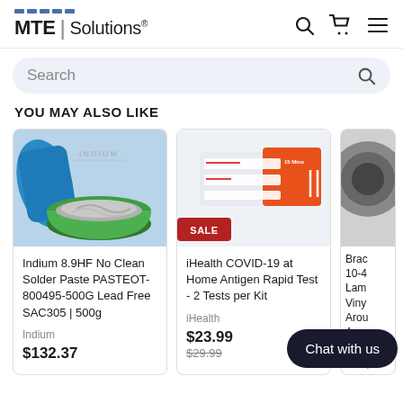MTE | Solutions®
Search
YOU MAY ALSO LIKE
[Figure (photo): Indium solder paste in a green bowl with blue gloves, INDIUM logo watermark]
Indium 8.9HF No Clean Solder Paste PASTEOT-800495-500G Lead Free SAC305 | 500g
Indium
$132.37
[Figure (photo): iHealth COVID-19 at Home Antigen Rapid Test kit box, orange and white packaging. SALE badge shown.]
iHealth COVID-19 at Home Antigen Rapid Test - 2 Tests per Kit
iHealth
$23.99
$29.99
[Figure (photo): Partial view of Brady product, dark circular image cropped]
Brady 10-4 Lam Viny Arou A
2.25
Brady
Chat with us